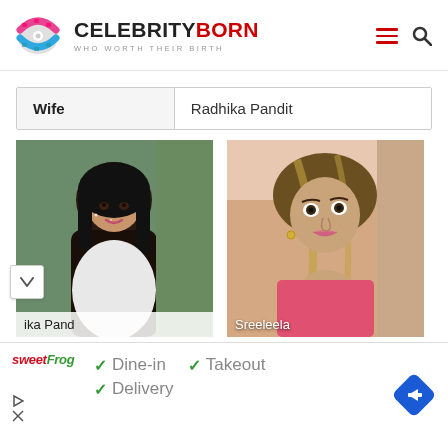[Figure (logo): CelebrityBorn logo with film reel graphic, text 'CELEBRITYBORN' and tagline 'WHO WORTH THEIR BIRTH']
| Wife | Radhika Pandit |
[Figure (photo): Photo of Radhika Pandit, dark-haired woman, partially labeled 'ika Pand' at bottom]
[Figure (photo): Photo of Sreeleela, young woman with highlighted hair, labeled 'Sreeleela' at bottom]
[Figure (infographic): sweetFrog advertisement showing Dine-in, Takeout, Delivery checkmarks with navigation arrow icon]